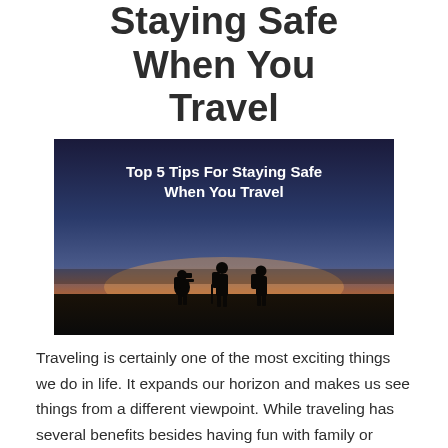Staying Safe When You Travel
[Figure (photo): Silhouette of three hikers with backpacks against a sunset sky, with text overlay 'Top 5 Tips For Staying Safe When You Travel']
Traveling is certainly one of the most exciting things we do in life. It expands our horizon and makes us see things from a different viewpoint. While traveling has several benefits besides having fun with family or friends, being careless while on